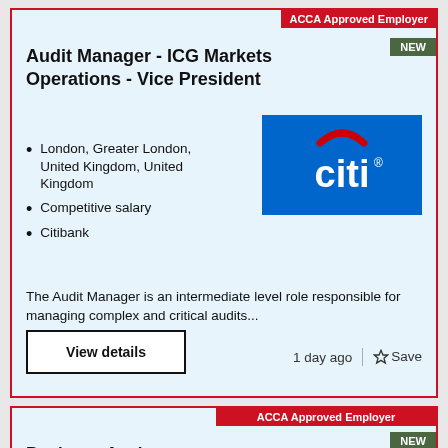ACCA Approved Employer
Audit Manager - ICG Markets Operations - Vice President
NEW
London, Greater London, United Kingdom, United Kingdom
Competitive salary
Citibank
[Figure (logo): Citibank logo: blue rectangle with white 'citi' text and red arc above]
The Audit Manager is an intermediate level role responsible for managing complex and critical audits...
View details
1 day ago  |  ☆ Save
ACCA Approved Employer
Business Analyst
NEW
Bristol, County of Bristol, United Kingdom, United
[Figure (logo): Purple logo (partially visible)]